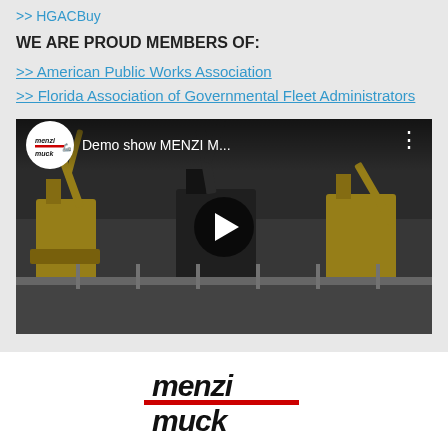>> HGACBuy
WE ARE PROUD MEMBERS OF:
>> American Public Works Association
>> Florida Association of Governmental Fleet Administrators
[Figure (screenshot): YouTube video thumbnail showing Demo show MENZI M... with construction excavators in background and play button overlay]
[Figure (logo): Menzi Muck logo — stylized italic black and red text]